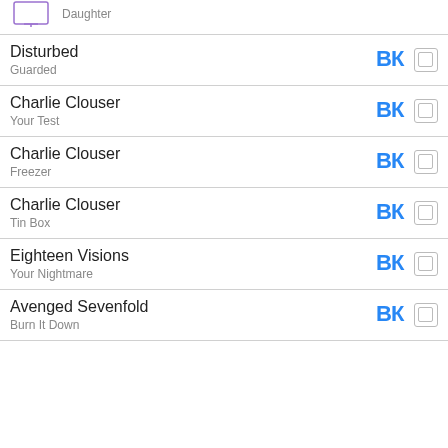Daughter
Disturbed
Guarded
Charlie Clouser
Your Test
Charlie Clouser
Freezer
Charlie Clouser
Tin Box
Eighteen Visions
Your Nightmare
Avenged Sevenfold
Burn It Down